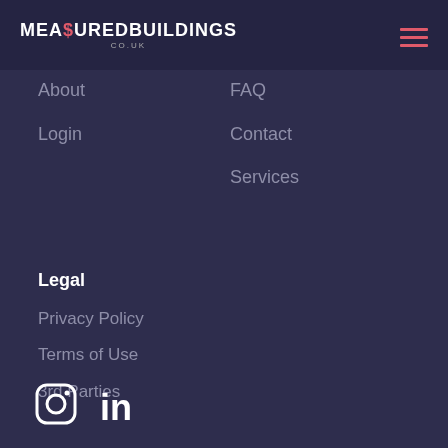[Figure (logo): MEA$UREDBUILDINGS logo with dollar sign replacing S, co.uk subtitle, on dark navy header bar with hamburger menu icon in coral/red color on the right]
About
Login
FAQ
Contact
Services
Legal
Privacy Policy
Terms of Use
3rd Parties
[Figure (other): Instagram and LinkedIn social media icons in white at the bottom of the page]